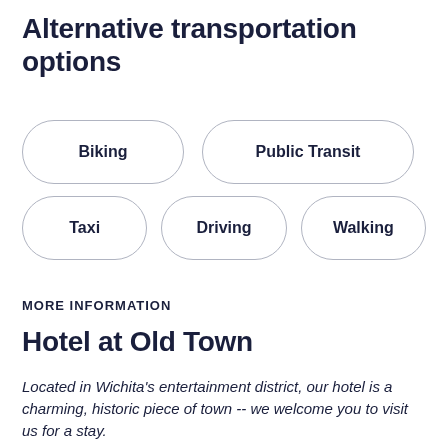Alternative transportation options
Biking
Public Transit
Taxi
Driving
Walking
MORE INFORMATION
Hotel at Old Town
Located in Wichita's entertainment district, our hotel is a charming, historic piece of town -- we welcome you to visit us for a stay.